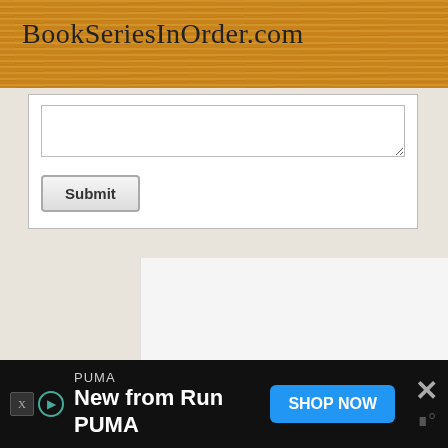BookSeriesInOrder.com
[Figure (screenshot): A textarea input field with resize handle and a Submit button below it, inside a white bordered form box]
[Figure (screenshot): Advertisement bar at the bottom: PUMA brand, 'New from Run PUMA' text, SHOP NOW blue button, and a close X button on the right]